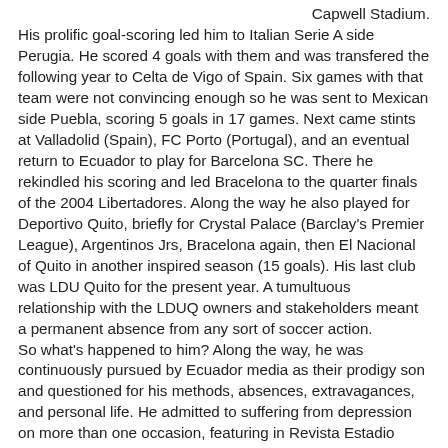Capwell Stadium. His prolific goal-scoring led him to Italian Serie A side Perugia. He scored 4 goals with them and was transfered the following year to Celta de Vigo of Spain. Six games with that team were not convincing enough so he was sent to Mexican side Puebla, scoring 5 goals in 17 games. Next came stints at Valladolid (Spain), FC Porto (Portugal), and an eventual return to Ecuador to play for Barcelona SC. There he rekindled his scoring and led Bracelona to the quarter finals of the 2004 Libertadores. Along the way he also played for Deportivo Quito, briefly for Crystal Palace (Barclay's Premier League), Argentinos Jrs, Bracelona again, then El Nacional of Quito in another inspired season (15 goals). His last club was LDU Quito for the present year. A tumultuous relationship with the LDUQ owners and stakeholders meant a permanent absence from any sort of soccer action. So what's happened to him? Along the way, he was continuously pursued by Ecuador media as their prodigy son and questioned for his methods, absences, extravagances, and personal life. He admitted to suffering from depression on more than one occasion, featuring in Revista Estadio